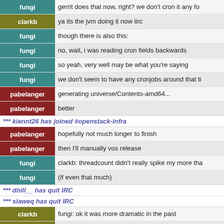fungi: gerrit does that now, right? we don't cron it any fo
clarkb: ya its the jvm doing it now iirc
fungi: though there is also this:
fungi: no, wait, i was reading cron fields backwards
fungi: so yeah, very well may be what you're saying
fungi: we don't seem to have any cronjobs around that ti
pabelanger: generating universe/Contents-amd64...
pabelanger: better
*** kiennt26 has joined #openstack-infra
pabelanger: hopefully not much longer to finish
pabelanger: then I'll manually vos release
fungi: clarkb: threadcount didn't really spike my more tha
fungi: (if even that much)
*** dhill__ has quit IRC
*** slaweq has quit IRC
clarkb: fungi: ok it was more dramatic in the past
clarkb: several hundred percent according to melody
*** slaweq has joined #openstack-infra
fungi: i must be looking at a different graph
*** esberglu has quit IRC
fungi: the "threads count" graph says it jumped from arou
clarkb: ...